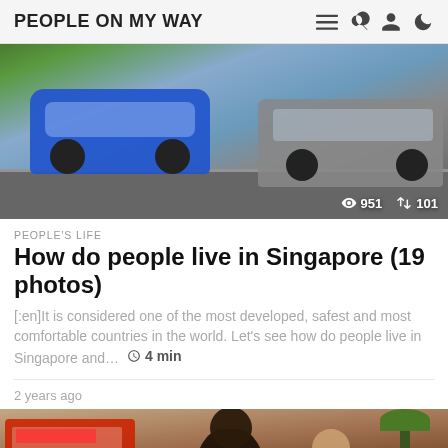PEOPLE ON MY WAY
[Figure (photo): Aerial view of cars in a parking lot or road, including a blue ComfortDelGro taxi and a gray van/MPV. Stats overlay shows 951 views and 101 shares.]
PEOPLE'S LIFE
How do people live in Singapore (19 photos)
[:en]It is considered one of the most developed, safest and most comfortable countries in the world. Let's see how do people live in Singapore and…  4 min
2 years ago
[Figure (photo): Street scene with a red bus with text, crowd of people including children in foreground, palm tree on the right, busy street setting.]